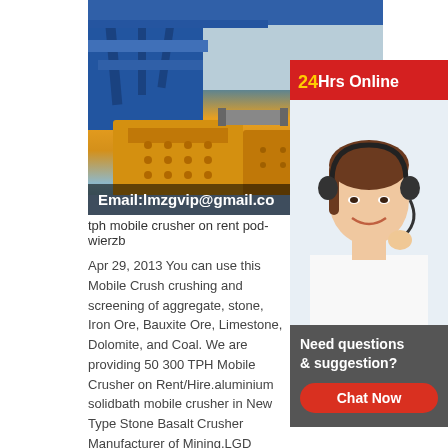[Figure (photo): Mining/crushing equipment with blue steel frame and yellow crushers, industrial facility]
Email:lmzgvip@gmail.co
[Figure (photo): 24Hrs Online banner with customer service agent wearing headset, smiling]
tph mobile crusher on rent pod-wierzb
Apr 29, 2013 You can use this Mobile Crush crushing and screening of aggregate, stone, Iron Ore, Bauxite Ore, Limestone, Dolomite, and Coal. We are providing 50 300 TPH Mobile Crusher on Rent/Hire.aluminium solidbath mobile crusher in New Type Stone Basalt Crusher Manufacturer of Mining,LGD which mainly manufacture large and medium-sized crushing and grinding equipments was founded in 1987. It is a modern joint-stock corporation with research, manufacturing and sales together. The Headquarter is located in HI-TECH Industry Development Zone of